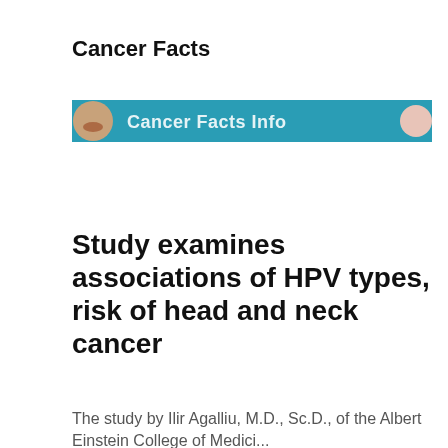Cancer Facts
[Figure (screenshot): A banner image with a teal/blue background showing a person's face on the left and text reading 'Cancer Facts Info' on the right with a circular avatar element.]
Study examines associations of HPV types, risk of head and neck cancer
The study by Ilir Agalliu, M.D., Sc.D., of the Albert Einstein College of Medici...